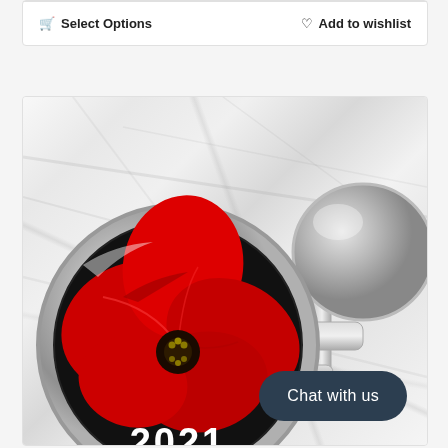Select Options
Add to wishlist
[Figure (photo): Silver cufflinks with red poppy flower design and '2021' text on a black circular face, photographed on a white marble surface. One cufflink shows the poppy design facing up, the other shows the reverse T-bar fitting.]
Chat with us